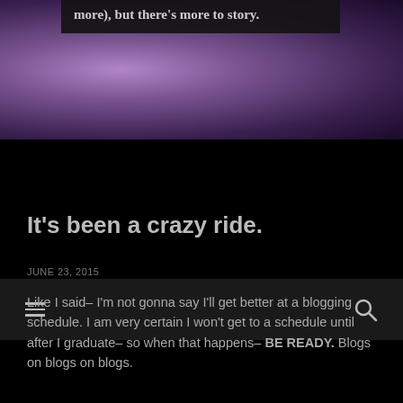[Figure (photo): Purple-toned hero image with a dark overlay text box showing partial text: 'more), but there's more to story.']
[Figure (infographic): Dark navigation bar with hamburger menu icon on the left and search icon on the right]
It’s been a crazy ride.
JUNE 23, 2015
Like I said– I’m not gonna say I’ll get better at a blogging schedule. I am very certain I won’t get to a schedule until after I graduate– so when that happens– BE READY. Blogs on blogs on blogs.